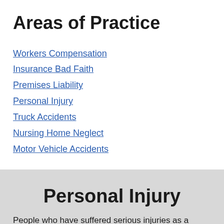Areas of Practice
Workers Compensation
Insurance Bad Faith
Premises Liability
Personal Injury
Truck Accidents
Nursing Home Neglect
Motor Vehicle Accidents
Personal Injury
People who have suffered serious injuries as a result of an